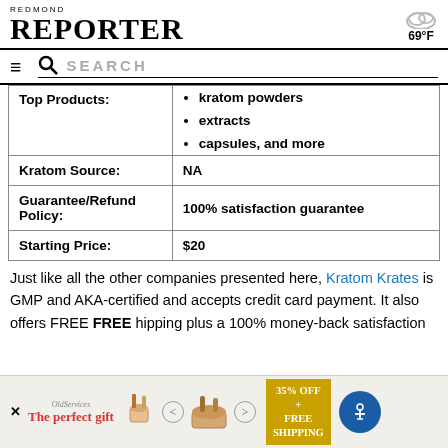REDMOND REPORTER | 69°F
| Field | Value |
| --- | --- |
| Top Products: | kratom powders
extracts
capsules, and more |
| Kratom Source: | NA |
| Guarantee/Refund Policy: | 100% satisfaction guarantee |
| Starting Price: | $20 |
Just like all the other companies presented here, Kratom Krates is GMP and AKA-certified and accepts credit card payment. It also offers FREE hipping plus a 100% money-back satisfaction
[Figure (other): Advertisement banner at bottom: The perfect gift, 35% OFF + FREE SHIPPING]